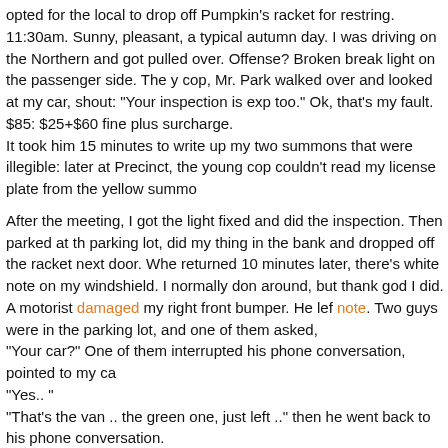opted for the local to drop off Pumpkin's racket for restring.
11:30am. Sunny, pleasant, a typical autumn day. I was driving on the Northern and got pulled over. Offense? Broken break light on the passenger side. The young cop, Mr. Park walked over and looked at my car, shout: "Your inspection is expired too." Ok, that's my fault.
$85: $25+$60 fine plus surcharge.
It took him 15 minutes to write up my two summons that were illegible: later at the Precinct, the young cop couldn't read my license plate from the yellow summon
After the meeting, I got the light fixed and did the inspection. Then parked at the parking lot, did my thing in the bank and dropped off the racket next door. When returned 10 minutes later, there's white note on my windshield. I normally don't turn around, but thank god I did. A motorist damaged my right front bumper. He left a note. Two guys were in the parking lot, and one of them asked,
"Your car?" One of them interrupted his phone conversation, pointed to my car
"Yes.. "
"That's the van .. the green one, just left .." then he went back to his phone conversation.
I chased out. Because the note he left with his cell # was missing a digit. He was waiting for the traffic light.
"Sorry, stuff happens. Call me with repair, I'll send you a check." He then added the missing digit, and sped away.
Life goes on.